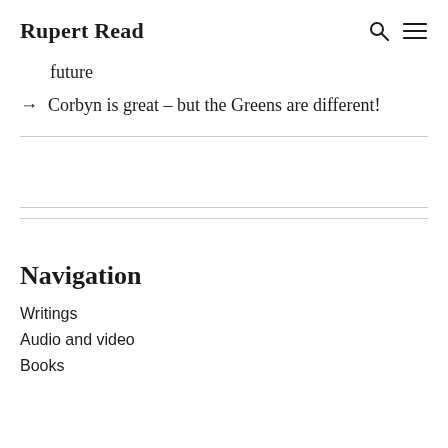Rupert Read
future
→ Corbyn is great – but the Greens are different!
Navigation
Writings
Audio and video
Books